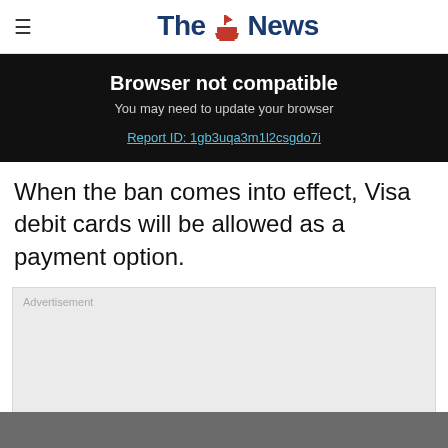The News
Browser not compatible
You may need to update your browser
Report ID: 1gb3uqa3m1l2csgdo7i
When the ban comes into effect, Visa debit cards will be allowed as a payment option.
[Figure (other): Advertisement placeholder box with label 'Advertisement']